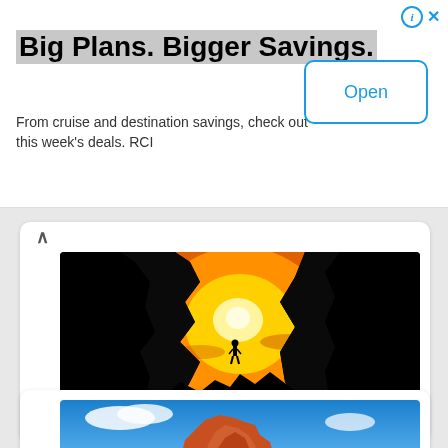Big Plans. Bigger Savings.
From cruise and destination savings, check out this week's deals. RCI
[Figure (photo): Silhouette of a person standing in Turret Arch at sunset, Arche's National Park, Utah. Dark rock formations frame a glowing orange and yellow sky.]
TURRET ARCH, Arche's National Park ... Utah
[Figure (photo): Partial view of a rock formation under a blue sky with clouds, Arches area Utah.]